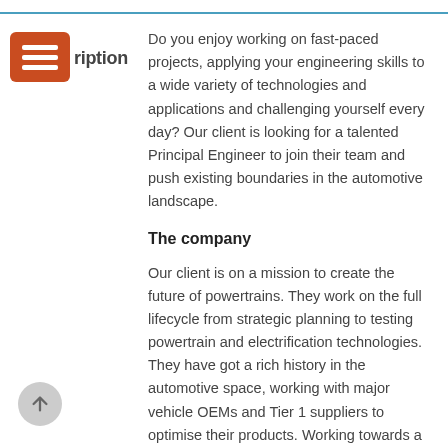Description
Do you enjoy working on fast-paced projects, applying your engineering skills to a wide variety of technologies and applications and challenging yourself every day? Our client is looking for a talented Principal Engineer to join their team and push existing boundaries in the automotive landscape.
The company
Our client is on a mission to create the future of powertrains. They work on the full lifecycle from strategic planning to testing powertrain and electrification technologies. They have got a rich history in the automotive space, working with major vehicle OEMs and Tier 1 suppliers to optimise their products. Working towards a more sustainable future, they are operating in the electrification space to advance the development of new, more sustainable